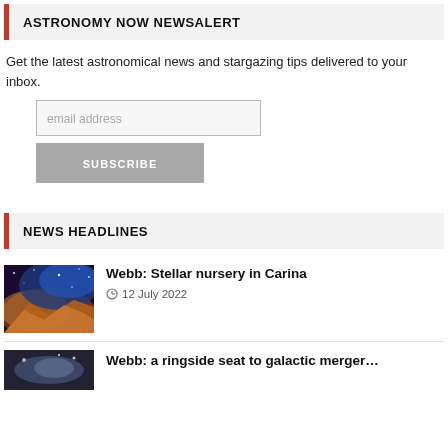ASTRONOMY NOW NEWSALERT
Get the latest astronomical news and stargazing tips delivered to your inbox.
NEWS HEADLINES
Webb: Stellar nursery in Carina
12 July 2022
Webb: a ringside seat to galactic merger